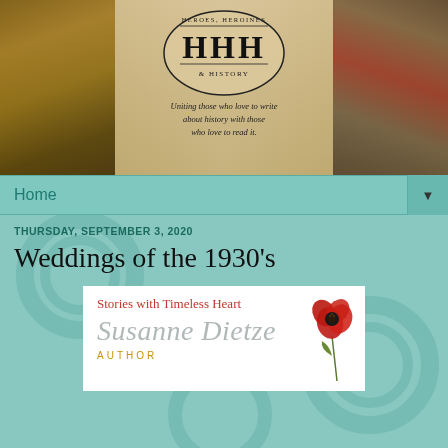[Figure (illustration): Heroes, Heroines & History blog banner with HHH logo, historical artwork panels on left and right, and tagline 'Uniting those who love to write about history with those who love to read it.']
Home ▼
THURSDAY, SEPTEMBER 3, 2020
Weddings of the 1930's
[Figure (illustration): Susanne Dietze author branding card with red poppy flower illustration, script name 'Susanne Dietze', tagline 'Stories with Timeless Heart', and label AUTHOR]